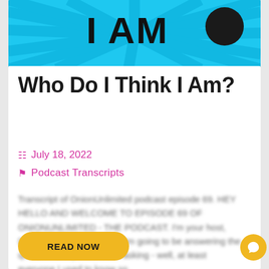[Figure (illustration): Blue radial burst banner with bold black text 'I AM' and a dark circle on the right]
Who Do I Think I Am?
July 18, 2022
Podcast Transcripts
Transcript of OnionUnlimited podcast episode 69. HEY HELLO AND WELCOME TO EPISODE 69 OF ONIONUNLIMITED - THE PODCAST. I'm your host, Daniel Torridon and today I'm going to be answering the question everyone's been asking - well, at least everyone I used to know so.
READ NOW